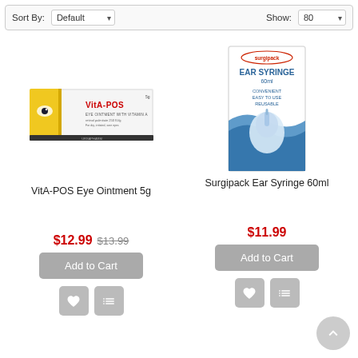Sort By: Default | Show: 80
[Figure (photo): VitA-POS Eye Ointment 5g product box — yellow and white rectangular box with an eye graphic and 'VitA-POS' branding by URSAPHARM]
VitA-POS Eye Ointment 5g
$12.99 $13.99
[Figure (photo): Surgipack Ear Syringe 60ml product box — white box with blue wave design, ear syringe bulb graphic, and 'Surgipack EAR SYRINGE 60ml' text]
Surgipack Ear Syringe 60ml
$11.99